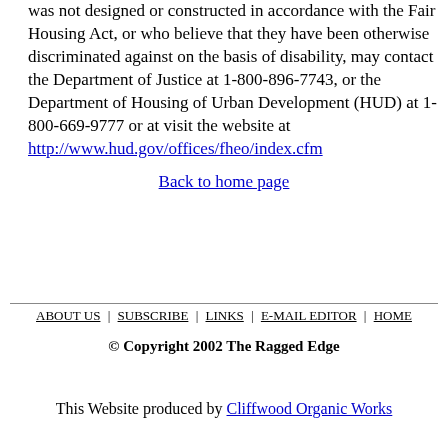was not designed or constructed in accordance with the Fair Housing Act, or who believe that they have been otherwise discriminated against on the basis of disability, may contact the Department of Justice at 1-800-896-7743, or the Department of Housing of Urban Development (HUD) at 1-800-669-9777 or at visit the website at http://www.hud.gov/offices/fheo/index.cfm
Back to home page
ABOUT US | SUBSCRIBE | LINKS | E-MAIL EDITOR | HOME
© Copyright 2002 The Ragged Edge
This Website produced by Cliffwood Organic Works